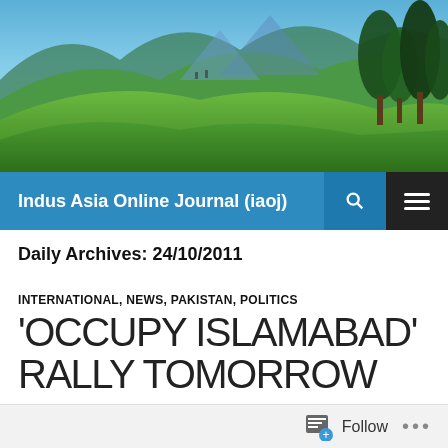[Figure (photo): Scenic landscape photo showing green hills, trees, and blue sky used as website header banner]
Indus Asia Online Journal (iaoj)
Daily Archives: 24/10/2011
INTERNATIONAL, NEWS, PAKISTAN, POLITICS
‘OCCUPY ISLAMABAD’ RALLY TOMORROW
24/10/2011   LEAVE A COMMENT
Follow